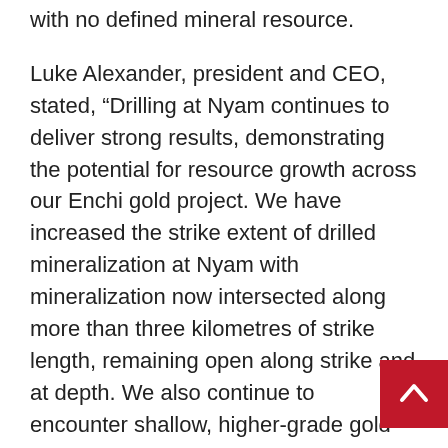with no defined mineral resource.
Luke Alexander, president and CEO, stated, “Drilling at Nyam continues to deliver strong results, demonstrating the potential for resource growth across our Enchi gold project. We have increased the strike extent of drilled mineralization at Nyam with mineralization now intersected along more than three kilometres of strike length, remaining open along strike and at depth. We also continue to encounter shallow, higher-grade gold mineralization at Nyam with drilling intersecting wide zones of mineralization in both the oxides and sulphides.”
Drilling includes testing extensions of the existing resource areas while also testing a number of high priority exploration targets outside of the inferred mineral resource. Drilling is focused on content to...